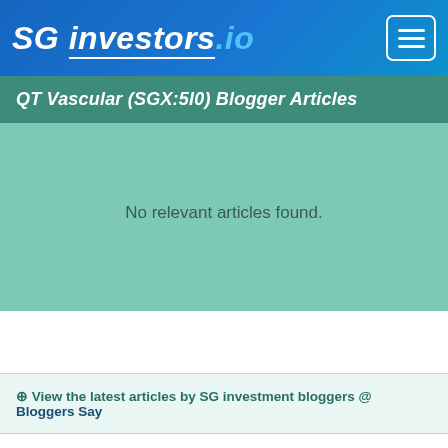SG investors.io
QT Vascular (SGX:5I0) Blogger Articles
No relevant articles found.
View the latest articles by SG investment bloggers @ Bloggers Say